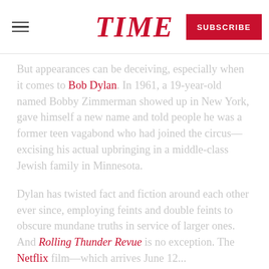TIME | SUBSCRIBE
But appearances can be deceiving, especially when it comes to Bob Dylan. In 1961, a 19-year-old named Bobby Zimmerman showed up in New York, gave himself a new name and told people he was a former teen vagabond who had joined the circus—excising his actual upbringing in a middle-class Jewish family in Minnesota.
Dylan has twisted fact and fiction around each other ever since, employing feints and double feints to obscure mundane truths in service of larger ones. And Rolling Thunder Revue is no exception. The Netflix film—which arrives June 12...